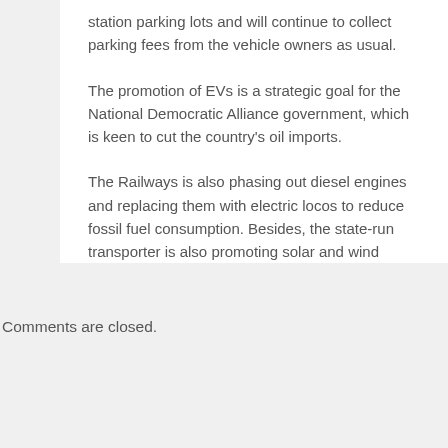station parking lots and will continue to collect parking fees from the vehicle owners as usual.
The promotion of EVs is a strategic goal for the National Democratic Alliance government, which is keen to cut the country's oil imports.
The Railways is also phasing out diesel engines and replacing them with electric locos to reduce fossil fuel consumption. Besides, the state-run transporter is also promoting solar and wind energy in a gradual manner.
Comments are closed.